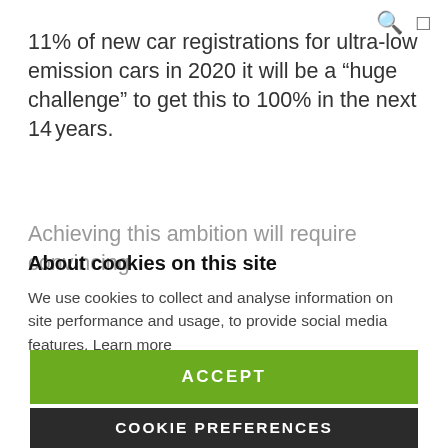11% of new car registrations for ultra-low emission cars in 2020 it will be a “huge challenge” to get this to 100% in the next 14 years.
Achieving this ambition will require convincing
About cookies on this site
We use cookies to collect and analyse information on site performance and usage, to provide social media features. Learn more
ACCEPT
COOKIE PREFERENCES